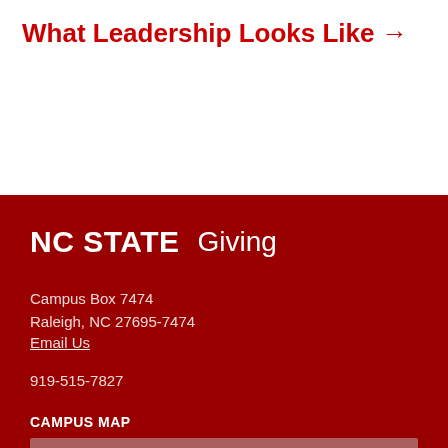What Leadership Looks Like →
NC STATE   Giving
Campus Box 7474
Raleigh, NC 27695-7474
Email Us
919-515-7827
CAMPUS MAP